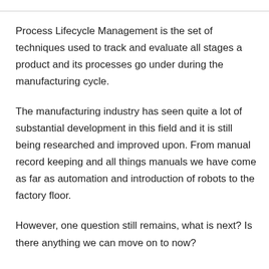Process Lifecycle Management is the set of techniques used to track and evaluate all stages a product and its processes go under during the manufacturing cycle.
The manufacturing industry has seen quite a lot of substantial development in this field and it is still being researched and improved upon. From manual record keeping and all things manuals we have come as far as automation and introduction of robots to the factory floor.
However, one question still remains, what is next? Is there anything we can move on to now?